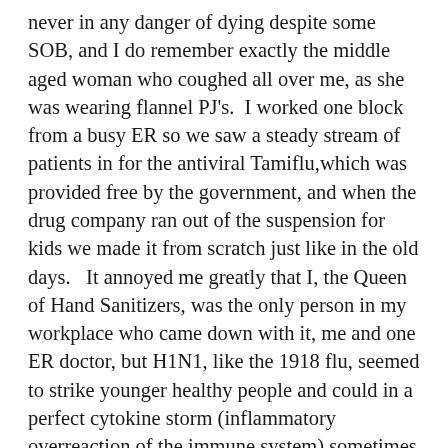never in any danger of dying despite some SOB, and I do remember exactly the middle aged woman who coughed all over me, as she was wearing flannel PJ's.  I worked one block from a busy ER so we saw a steady stream of patients in for the antiviral Tamiflu,which was provided free by the government, and when the drug company ran out of the suspension for kids we made it from scratch just like in the old days.   It annoyed me greatly that I, the Queen of Hand Sanitizers, was the only person in my workplace who came down with it, me and one ER doctor, but H1N1, like the 1918 flu, seemed to strike younger healthy people and could in a perfect cytokine storm (inflammatory overreaction of the immune system) sometimes lead to multi-organ failure.    Of course we had antibiotics and ventilators to treat the respiratory complications unlike in 1918.   And then there was SARS in 2004, with all of those unnecessary deaths in Toronto, as the health care system did not